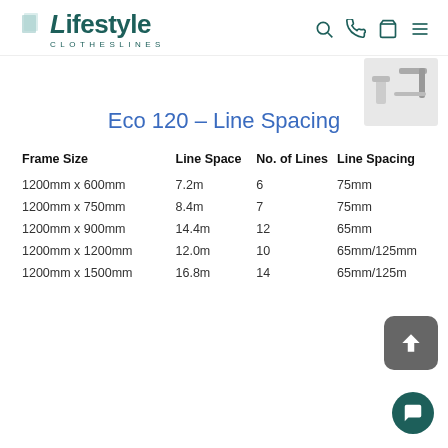Lifestyle Clotheslines
Eco 120 – Line Spacing
| Frame Size | Line Space | No. of Lines | Line Spacing |
| --- | --- | --- | --- |
| 1200mm x 600mm | 7.2m | 6 | 75mm |
| 1200mm x 750mm | 8.4m | 7 | 75mm |
| 1200mm x 900mm | 14.4m | 12 | 65mm |
| 1200mm x 1200mm | 12.0m | 10 | 65mm/125mm |
| 1200mm x 1500mm | 16.8m | 14 | 65mm/125mm |